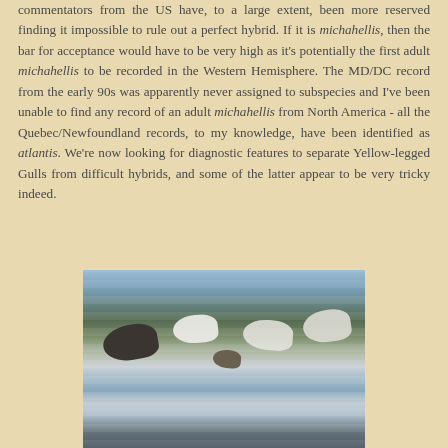commentators from the US have, to a large extent, been more reserved finding it impossible to rule out a perfect hybrid. If it is michahellis, then the bar for acceptance would have to be very high as it's potentially the first adult michahellis to be recorded in the Western Hemisphere. The MD/DC record from the early 90s was apparently never assigned to subspecies and I've been unable to find any record of an adult michahellis from North America - all the Quebec/Newfoundland records, to my knowledge, have been identified as atlantis. We're now looking for diagnostic features to separate Yellow-legged Gulls from difficult hybrids, and some of the latter appear to be very tricky indeed.
[Figure (photo): Photograph of gulls in flight near water with ice or waves, showing multiple birds with dark and light plumage against a background of water and a dark barrier or sea wall.]